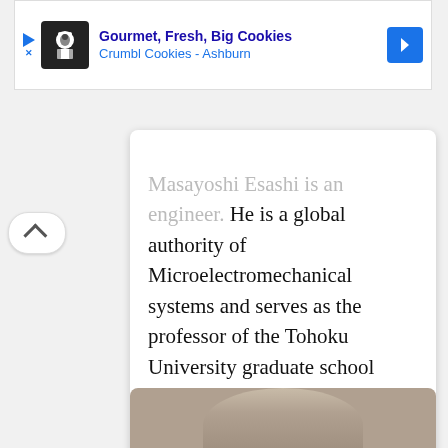[Figure (screenshot): Ad banner for Crumbl Cookies - Ashburn with cookie chef logo, play button, close button, and navigation arrow]
Masayoshi Esashi is an engineer. He is a global authority of Microelectromechanical systems and serves as the professor of the Tohoku University graduate school engineering graduate course.
[Figure (photo): Partial photo of a person with grey hair, cropped at top of frame]